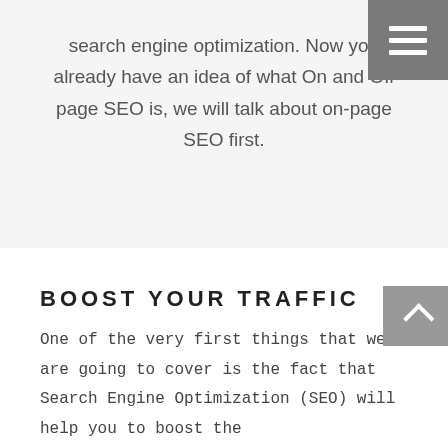[Figure (other): Hamburger menu button icon with three white horizontal bars on a grey background, positioned top-right corner]
search engine optimization. Now you already have an idea of what On and Off page SEO is, we will talk about on-page SEO first.
[Figure (other): Scroll-to-top button with an upward-pointing chevron/caret on a grey background, positioned on the right side]
BOOST YOUR TRAFFIC
One of the very first things that we are going to cover is the fact that Search Engine Optimization (SEO) will help you to boost the